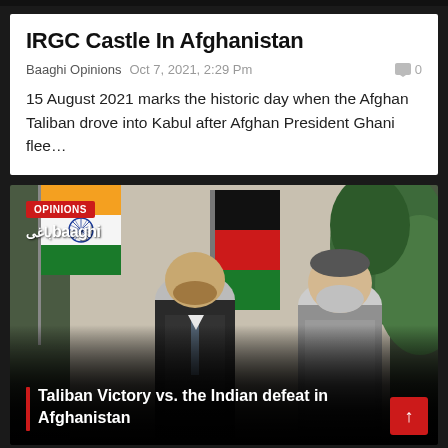IRGC Castle In Afghanistan
Baaghi Opinions  Oct 7, 2021, 2:29 Pm  0
15 August 2021 marks the historic day when the Afghan Taliban drove into Kabul after Afghan President Ghani flee…
[Figure (photo): Photo of two men, presumably Afghan President Ghani and Indian PM Modi, standing together with Indian and Afghan flags in background. Overlay text: 'Taliban Victory vs. the Indian defeat in Afghanistan'. Badges: OPINIONS, Baaghi logo.]